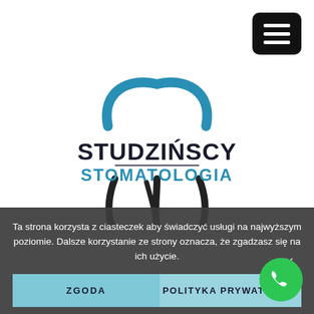[Figure (logo): Studzińscy Stomatologia dental clinic logo: blue tooth outline (top arch and bottom roots) with bold dark text STUDZIŃSCY and blue text STOMATOLOGIA]
Ta strona korzysta z ciasteczek aby świadczyć usługi na najwyższym poziomie. Dalsze korzystanie ze strony oznacza, że zgadzasz się na ich użycie.
ZGODA
POLITYKA PRYWATNOŚCI